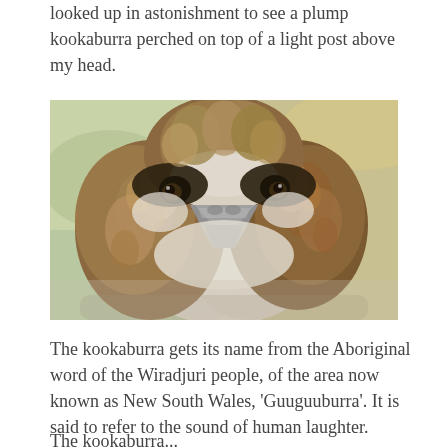looked up in astonishment to see a plump kookaburra perched on top of a light post above my head.
[Figure (photo): Close-up photograph of a kookaburra bird with ruffled brown and white feathers and a large beak, viewed from the front, with a blurred natural background.]
The kookaburra gets its name from the Aboriginal word of the Wiradjuri people, of the area now known as New South Wales, 'Guuguuburra'. It is said to refer to the sound of human laughter.
The kookaburra...